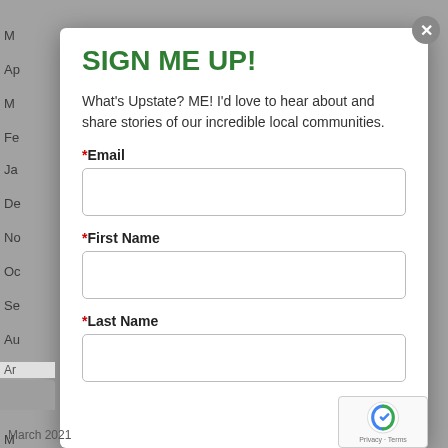SIGN ME UP!
What's Upstate? ME! I'd love to hear about and share stories of our incredible local communities.
*Email
*First Name
*Last Name
March 2021